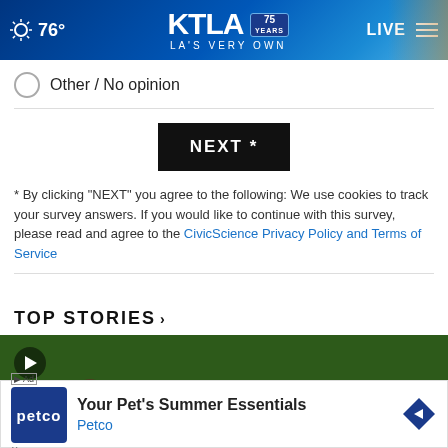KTLA 75 YEARS - LA'S VERY OWN | 76° | LIVE
Other / No opinion
NEXT *
* By clicking "NEXT" you agree to the following: We use cookies to track your survey answers. If you would like to continue with this survey, please read and agree to the CivicScience Privacy Policy and Terms of Service
TOP STORIES ›
[Figure (photo): Video thumbnail showing outdoor grass scene with a person in blue clothing visible, play button in top-left corner]
[Figure (logo): Advertisement banner for Petco - Your Pet's Summer Essentials with Petco logo and diamond-shaped arrow icon]